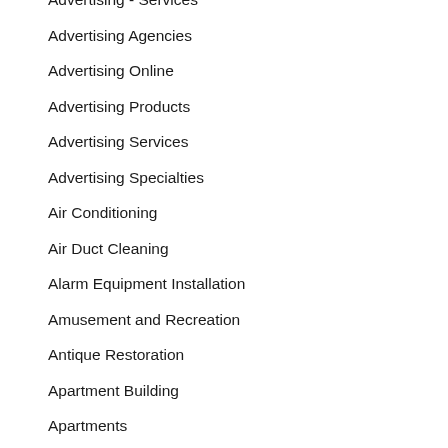Advertising - Services
Advertising Agencies
Advertising Online
Advertising Products
Advertising Services
Advertising Specialties
Air Conditioning
Air Duct Cleaning
Alarm Equipment Installation
Amusement and Recreation
Antique Restoration
Apartment Building
Apartments
Apartments - Luxury
Appliances and Repair
Appraisal…